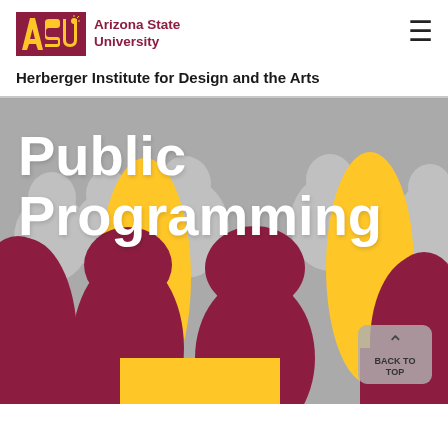ASU Arizona State University
Herberger Institute for Design and the Arts
[Figure (illustration): Hero image with silhouettes of people in maroon, gold, and gray colors against a gray background, representing public programming audience]
Public Programming